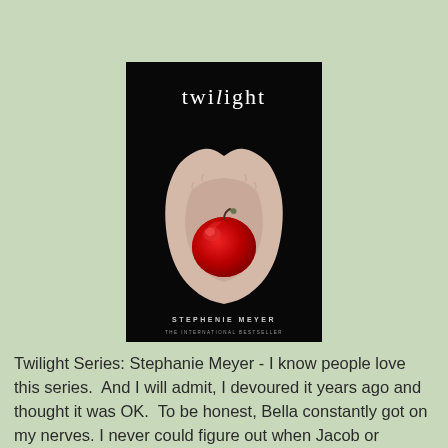[Figure (photo): Book cover of 'Twilight' by Stephenie Meyer — black background with pale hands cupping a red apple, title 'twilight' in white serif font at top, author name 'STEPHENIE MEYER' and 'THE INTERNATIONAL BESTSELLER' at bottom]
Twilight Series: Stephanie Meyer - I know people love this series.  And I will admit, I devoured it years ago and thought it was OK.  To be honest, Bella constantly got on my nerves.  I never could figure out when Jacob or Edward either one wanted her.  I can find lots of fault with this book and remembering having a debate about Bella being a whiny, dependent brat.  Sorry if I offended anyone, but I hated the way this book ended.  Although my preferred ending would